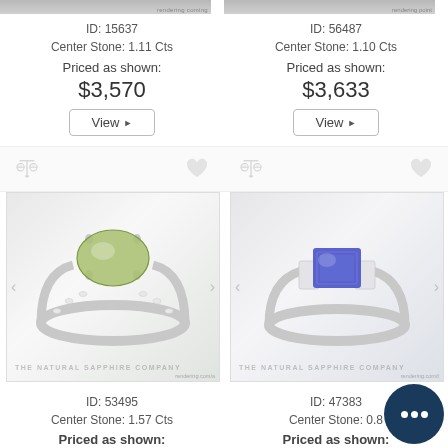[Figure (photo): Partial top of two ring product photos, cropped]
ID: 15637
Center Stone: 1.11 Cts
Priced as shown:
$3,570
View
ID: 56487
Center Stone: 1.10 Cts
Priced as shown:
$3,633
View
[Figure (illustration): Compare (scale) icon and heart/favorite icon for left product]
[Figure (illustration): Compare (scale) icon and heart/favorite icon for right product]
[Figure (photo): Ring with green oval sapphire center stone and pave diamond band, The Natural Sapphire Company watermark, ID 53495]
[Figure (photo): Ring with blue emerald-cut sapphire center stone and side diamonds, The Natural Sapphire Company watermark, ID 47383]
ID: 53495
Center Stone: 1.57 Cts
Priced as shown:
ID: 47383
Center Stone: 0.8
Priced as shown:
[Figure (illustration): Chat bubble icon with three dots, dark navy blue circle]